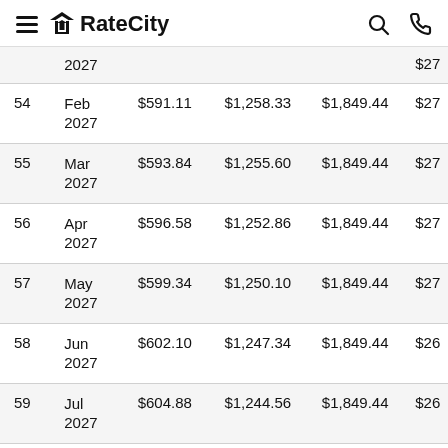RateCity
| # | Date | Interest | Principal | Total | Balance |
| --- | --- | --- | --- | --- | --- |
|  | 2027 |  |  |  | $27 |
| 54 | Feb 2027 | $591.11 | $1,258.33 | $1,849.44 | $27 |
| 55 | Mar 2027 | $593.84 | $1,255.60 | $1,849.44 | $27 |
| 56 | Apr 2027 | $596.58 | $1,252.86 | $1,849.44 | $27 |
| 57 | May 2027 | $599.34 | $1,250.10 | $1,849.44 | $27 |
| 58 | Jun 2027 | $602.10 | $1,247.34 | $1,849.44 | $26 |
| 59 | Jul 2027 | $604.88 | $1,244.56 | $1,849.44 | $26 |
| 60 | Aug 2027 | $607.68 | $1,241.76 | $1,849.44 | $26 |